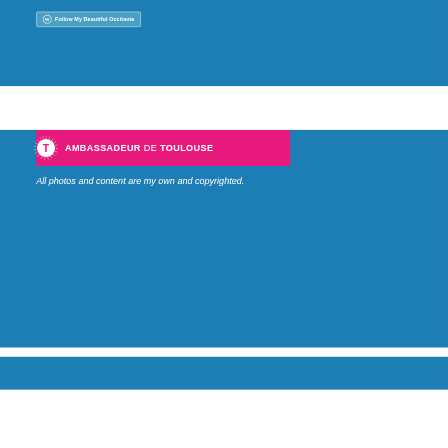[Figure (screenshot): Blue WordPress follow button with WordPress logo and text 'Follow My Beautiful Occitanie' on a blue background panel]
[Figure (logo): Pink/magenta banner with Toulouse T logo and text 'AMBASSADEUR DE TOULOUSE', followed by italic white text 'All photos and content are my own and copyrighted.' on a blue background panel]
[Figure (screenshot): Partial blue panel at the bottom, beginning of another section]